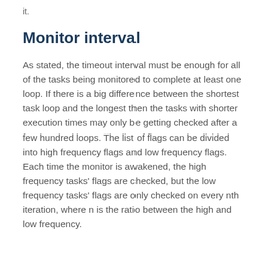it.
Monitor interval
As stated, the timeout interval must be enough for all of the tasks being monitored to complete at least one loop. If there is a big difference between the shortest task loop and the longest then the tasks with shorter execution times may only be getting checked after a few hundred loops. The list of flags can be divided into high frequency flags and low frequency flags. Each time the monitor is awakened, the high frequency tasks' flags are checked, but the low frequency tasks' flags are only checked on every nth iteration, where n is the ratio between the high and low frequency.